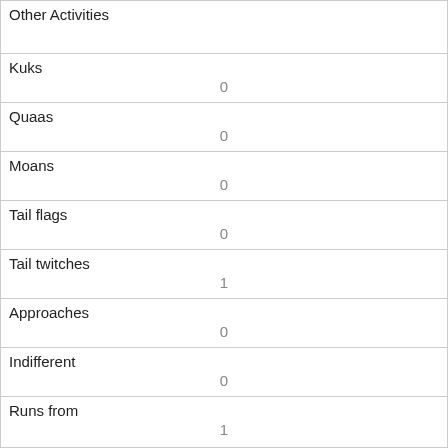| Field | Value |
| --- | --- |
| Other Activities |  |
| Kuks | 0 |
| Quaas | 0 |
| Moans | 0 |
| Tail flags | 0 |
| Tail twitches | 1 |
| Approaches | 0 |
| Indifferent | 0 |
| Runs from | 1 |
| Other Interactions | runs from (me!)—from a pretty big distance |
| Lat/Long |  |